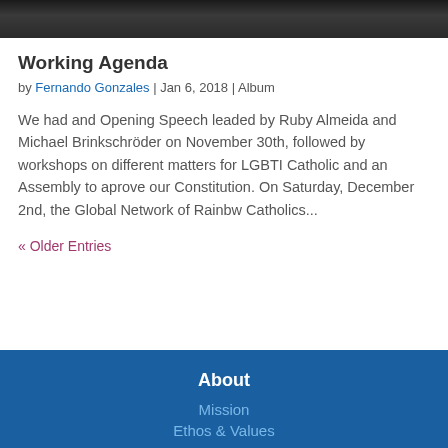[Figure (photo): Dark photo strip showing people at an event, cropped at the top of the page]
Working Agenda
by Fernando Gonzales | Jan 6, 2018 | Album
We had and Opening Speech leaded by Ruby Almeida and Michael Brinkschröder on November 30th, followed by workshops on different matters for LGBTI Catholic and an Assembly to aprove our Constitution. On Saturday, December 2nd, the Global Network of Rainbw Catholics...
« Older Entries
About
Mission
Ethos & Values